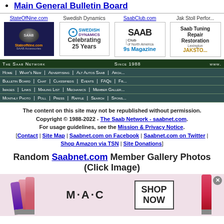Main General Bulletin Board
[Figure (other): Four sponsor banners: StateOfNine.com (SAAB accessories), Swedish Dynamics (Celebrating 25 Years), SaabClub.com (9s Magazine), Jak Stoll Performance (Saab Tuning Repair Restoration)]
[Figure (other): The Saab Network navigation bar with links: Home, What's New, Advertising, Alt Autos Saab, Archives, Bulletin Board, Chat, Classifieds, Events, FAQs, Images, Links, Mailing List, Mechanics, Member Gallery, Monthly Photo, Poll, Press, Raffle, Search, Sponsors. Since 1988, www.]
The content on this site may not be republished without permission. Copyright © 1988-2022 - The Saab Network - saabnet.com. For usage guidelines, see the Mission & Privacy Notice. [Contact | Site Map | Saabnet.com on Facebook | Saabnet.com on Twitter | Shop Amazon via TSN | Site Donations]
Random Saabnet.com Member Gallery Photos (Click Image)
[Figure (photo): MAC cosmetics advertisement banner showing multiple lipsticks in purple, pink and red shades with MAC logo and SHOP NOW button]